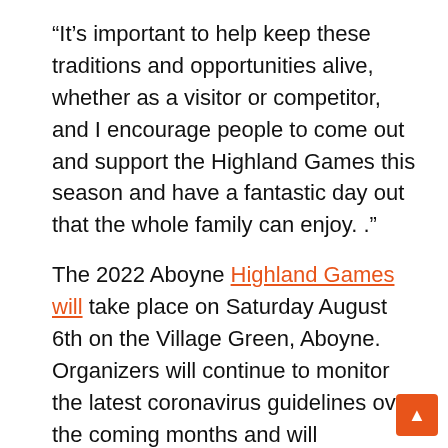“It’s important to help keep these traditions and opportunities alive, whether as a visitor or competitor, and I encourage people to come out and support the Highland Games this season and have a fantastic day out that the whole family can enjoy. .”
The 2022 Aboyne Highland Games will take place on Saturday August 6th on the Village Green, Aboyne. Organizers will continue to monitor the latest coronavirus guidelines over the coming months and will implement all relevant protocols on the day of the event.
Founded in 1867, the Aboyne Highland Games are traditional Scottish Highland games held annually on the first Saturday in August. The